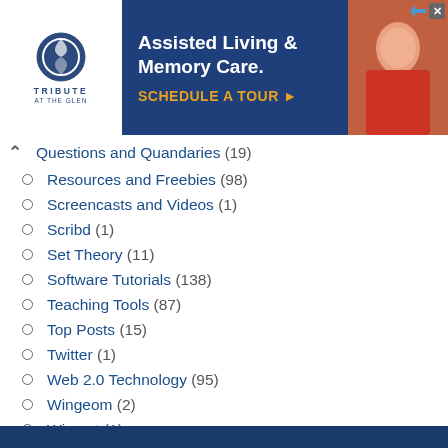[Figure (other): Tribute at the Glen advertisement banner for Assisted Living & Memory Care with Schedule a Tour CTA]
Questions and Quandaries (19)
Resources and Freebies (98)
Screencasts and Videos (1)
Scribd (1)
Set Theory (11)
Software Tutorials (138)
Teaching Tools (87)
Top Posts (15)
Twitter (1)
Web 2.0 Technology (95)
Wingeom (2)
Winmat (1)
Wolfram Alpha (3)
Wordpress (10)